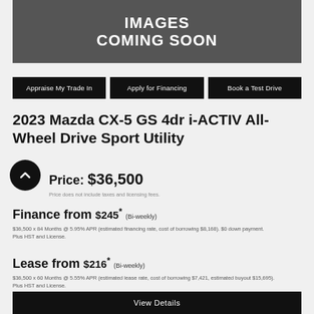[Figure (illustration): Dark gray banner with white bold uppercase text reading 'IMAGES COMING SOON']
Appraise My Trade In
Apply for Financing
Book a Test Drive
2023 Mazda CX-5 GS 4dr i-ACTIV All-Wheel Drive Sport Utility
Price: $36,500
Price does not include taxes and licensing fees.
Finance from $245* (Bi-weekly)
$36,500 x 84 Months @ 5.95% APR (estimated financing rate, cost of borrowing $8,168). $0 down payment.
Plus HST and License.
Lease from $216* (Bi-weekly)
$36,500 x 60 Months @ 5.55% APR (estimated lease rate, cost of borrowing $7,421, estimated buyout $15,695).
Plus HST and License.
View Details